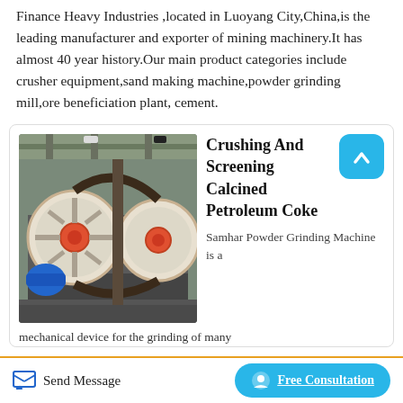Finance Heavy Industries ,located in Luoyang City,China,is the leading manufacturer and exporter of mining machinery.It has almost 40 year history.Our main product categories include crusher equipment,sand making machine,powder grinding mill,ore beneficiation plant, cement.
[Figure (photo): Industrial crushing machine with large orange flywheels and blue motor in an industrial shed]
Crushing And Screening Calcined Petroleum Coke
Samhar Powder Grinding Machine is a mechanical device for the grinding of many
Send Message   Free Consultation